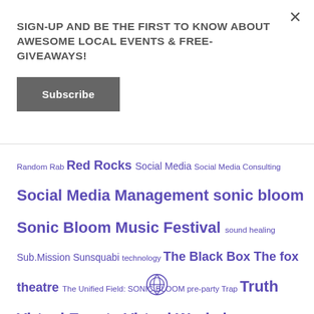×
SIGN-UP AND BE THE FIRST TO KNOW ABOUT AWESOME LOCAL EVENTS & FREE-GIVEAWAYS!
Subscribe
Random Rab Red Rocks Social Media Social Media Consulting Social Media Management sonic bloom Sonic Bloom Music Festival sound healing Sub.Mission Sunsquabi technology The Black Box The fox theatre The Unified Field: SONIC BLOOM pre-party Trap Truth Virtual Events Virtual Workshops Visionary Art Workshops Yoga
[Figure (logo): WordPress logo circle icon]